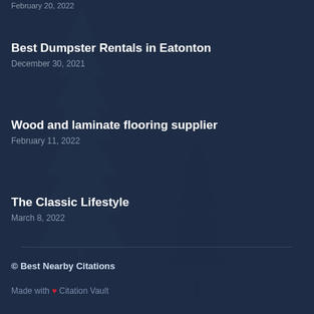Best Dumpster Rentals in Eatonton
December 30, 2021
Wood and laminate flooring supplier
February 11, 2022
The Classic Lifestyle
March 8, 2022
© Best Nearby Citations
Made with ❤ Citation Vault